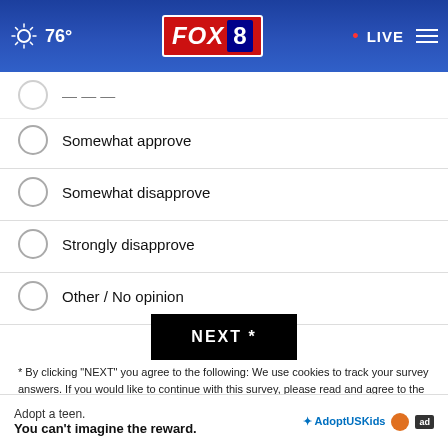76° FOX 8 • LIVE
Somewhat approve
Somewhat disapprove
Strongly disapprove
Other / No opinion
NEXT *
* By clicking "NEXT" you agree to the following: We use cookies to track your survey answers. If you would like to continue with this survey, please read and agree to the CivicScience Privacy Policy and Terms of Service
TOP STORIES ›
[Figure (photo): Partially visible news story image strip at bottom of page]
Adopt a teen. You can't imagine the reward.